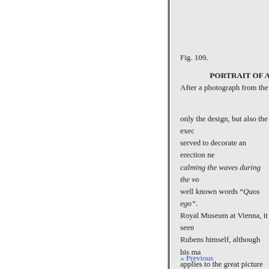Fig. 109.
PORTRAIT OF A
After a photograph from the
only the design, but also the exec served to decorate an erection ne calming the waves during the vo well known words “Quos ego”. Royal Museum at Vienna, it seen Rubens himself, although his ma applies to the great picture the M of a pupil. By the master himself the Museum at Brussels, which w still in existence, although they n there is a sketch for the picture o Museum at Antwerp and six at th Neptune and another
« Previous